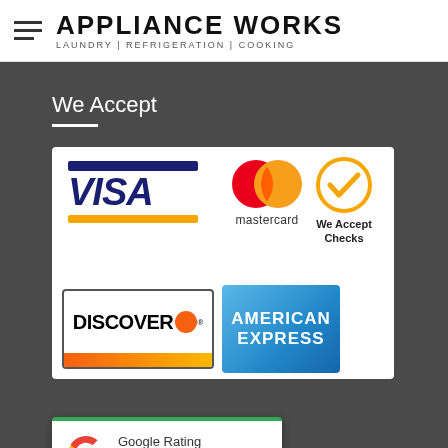Appliance Works — Laundry | Refrigeration | Cooking
We Accept
[Figure (infographic): Payment methods accepted: Visa, Mastercard, Discover, American Express, and Checks (with checkmark icon). Google Rating 4.9 stars overlay at bottom.]